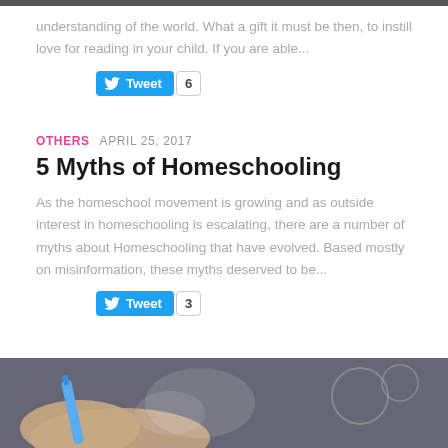understanding of the world. What a gift it must be then, to instill love for reading in your child. If you are able...
[Figure (other): Tweet button with count of 6]
OTHERS  APRIL 25, 2017
5 Myths of Homeschooling
As the homeschool movement is growing and as outside interest in homeschooling is escalating, there are a number of myths about Homeschooling that have evolved. Based mostly on misinformation, these myths deserved to be...
[Figure (other): Tweet button with count of 3]
[Figure (photo): A hand holding a blue pen near a chalkboard or dark surface with circles/writing]